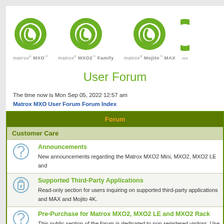[Figure (logo): Three Matrox product logos (MXO, MXO2 Family, Mojito MAX) with green circular icons and product name text below each]
User Forum
The time now is Mon Sep 05, 2022 12:57 am
Matrox MXO User Forum Forum Index
| Forum |
| --- |
| Customer Care |
| Announcements | New announcements regarding the Matrox MXO2 Mini, MXO2, MXO2 LE and |
| Supported Third-Party Applications | Read-only section for users inquiring on supported third-party applications and MAX and Mojito 4K. |
| Pre-Purchase for Matrox MXO2, MXO2 LE and MXO2 Rack | This public section of the forum is dedicated to non-registered visitors. Use the the MXO2, MXO2 LE and MXO2 Rack features and system recommendation |